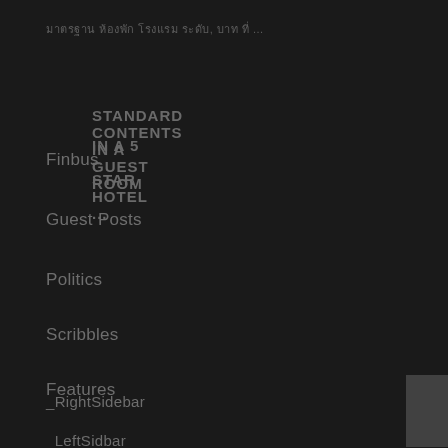มาตรฐาน ห้องพัก โรงแรม ระดับ, บาท ที่ ...
STANDARD CONTENTS IN A GUEST ROOM IN A 5 – STAR HOTEL ...
Finbus
Guest Posts
Politics
Scribbles
Features
_RightSidebar
_LeftSidbar